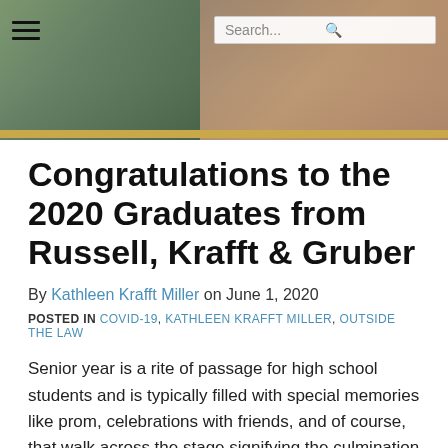[Figure (photo): Website header with graduation photos of students in caps and gowns, overlaid with a hamburger menu icon and a search bar]
Congratulations to the 2020 Graduates from Russell, Krafft & Gruber
By Kathleen Krafft Miller on June 1, 2020
POSTED IN COVID-19, KATHLEEN KRAFFT MILLER, OUTSIDE THE LAW
Senior year is a rite of passage for high school students and is typically filled with special memories like prom, celebrations with friends, and of course, that walk across the stage signifying the culmination of 12 years of hard work. For the 2020 graduates, though, this year has been anything but